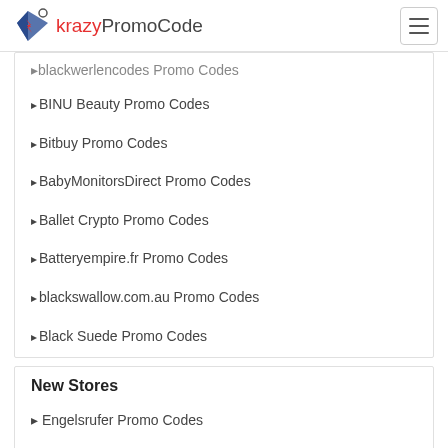krazyPromoCode
blackwellencodes Promo Codes (truncated/partially visible)
BINU Beauty Promo Codes
Bitbuy Promo Codes
BabyMonitorsDirect Promo Codes
Ballet Crypto Promo Codes
Batteryempire.fr Promo Codes
blackswallow.com.au Promo Codes
Black Suede Promo Codes
New Stores
Engelsrufer Promo Codes
Emeet Promo Codes